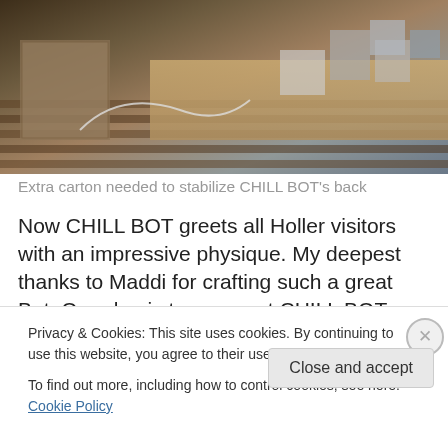[Figure (photo): Photo of workshop/desk area with cardboard boxes, electronic components, and materials for building CHILL BOT robot, shown on wooden floor and desk surface]
Extra carton needed to stabilize CHILL BOT’s back
Now CHILL BOT greets all Holler visitors with an impressive physique. My deepest thanks to Maddi for crafting such a great Bot. Our plan is to augment CHILL BOT with proximity sensors, reacting to hectic earthlings who would be in  need to “seriously chill out”.  Update to follow
Privacy & Cookies: This site uses cookies. By continuing to use this website, you agree to their use.
To find out more, including how to control cookies, see here: Cookie Policy